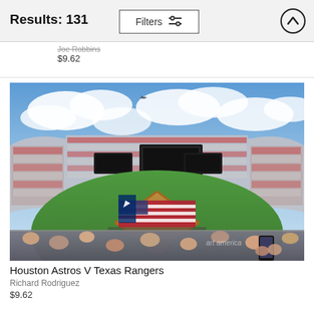Results: 131
Joe Robbins
$9.62
[Figure (photo): Aerial wide-angle view of a packed baseball stadium during opening ceremonies showing a large American flag spread across the infield, crowds in the stands, cloudy blue sky, and military aircraft flyover. Watermark reads 'art america'.]
Houston Astros V Texas Rangers
Richard Rodriguez
$9.62